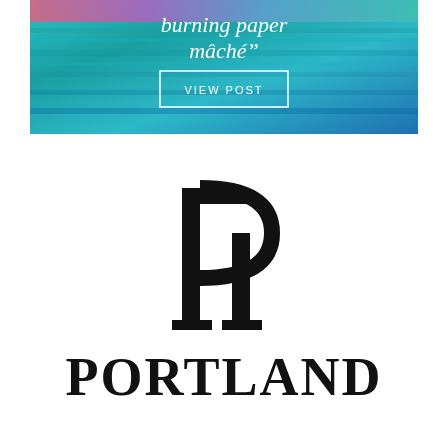[Figure (illustration): A colorful teal/blue/purple gradient banner image with white italic text reading 'burning paper mâché"' and a white-bordered button labeled 'VIEW POST' in white uppercase letters.]
[Figure (logo): Portland Press Herald logo: a stylized double-pillar letter P mark in black, above the word PORTLAND in large bold serif capitals.]